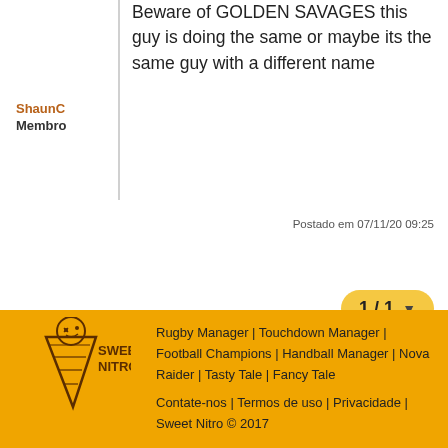Beware of GOLDEN SAVAGES this guy is doing the same or maybe its the same guy with a different name
ShaunC
Membro
Postado em 07/11/20 09:25
1 / 1 ▼
Página inicial » English » Ideas » CAM
[Figure (logo): Sweet Nitro ice cream cone logo with text SWEET NITRO]
Rugby Manager | Touchdown Manager | Football Champions | Handball Manager | Nova Raider | Tasty Tale | Fancy Tale
Contate-nos | Termos de uso | Privacidade | Sweet Nitro © 2017